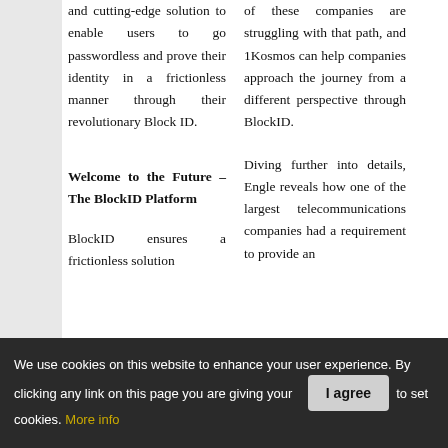and cutting-edge solution to enable users to go passwordless and prove their identity in a frictionless manner through their revolutionary Block ID.
Welcome to the Future – The BlockID Platform
BlockID ensures a frictionless solution
of these companies are struggling with that path, and 1Kosmos can help companies approach the journey from a different perspective through BlockID.
Diving further into details, Engle reveals how one of the largest telecommunications companies had a requirement to provide an
We use cookies on this website to enhance your user experience. By clicking any link on this page you are giving your consent for us to set cookies. More info